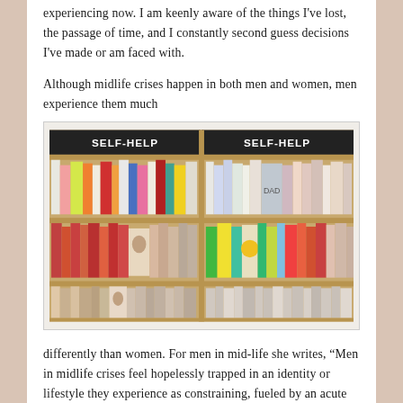experiencing now. I am keenly aware of the things I've lost, the passage of time, and I constantly second guess decisions I've made or am faced with.
Although midlife crises happen in both men and women, men experience them much
[Figure (photo): Photo of bookstore shelves labeled SELF-HELP in two sections, filled with colorful books arranged on multiple rows.]
differently than women. For men in mid-life she writes, “Men in midlife crises feel hopelessly trapped in an identity or lifestyle they experience as constraining, fueled by an acute awareness of time passing. Finding themselves in a life that feels empty and inauthentic, they